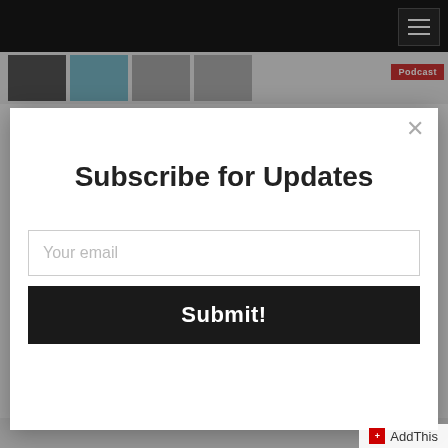[Figure (screenshot): Website background showing top navigation bar with hamburger menu, a podcast episode strip with thumbnail images and a red Podcast badge, and a page title 'One Mom's Mission (feat. Tiffany...' with subtitle partially visible]
Subscribe for Updates
Your email
Submit!
[Figure (logo): AddThis sharing widget logo with red cross icon and 'AddThis' text]